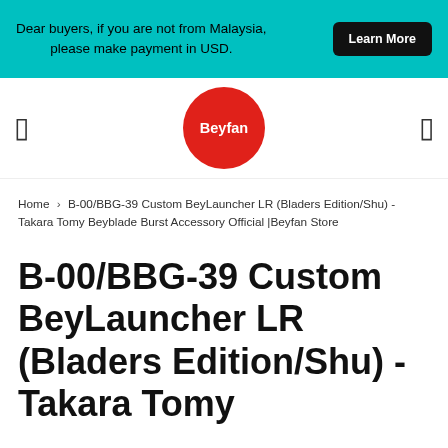Dear buyers, if you are not from Malaysia, please make payment in USD.
[Figure (logo): Beyfan store logo — red circle with white text 'Beyfan']
Home › B-00/BBG-39 Custom BeyLauncher LR (Bladers Edition/Shu) -Takara Tomy Beyblade Burst Accessory Official |Beyfan Store
B-00/BBG-39 Custom BeyLauncher LR (Bladers Edition/Shu) -Takara Tomy